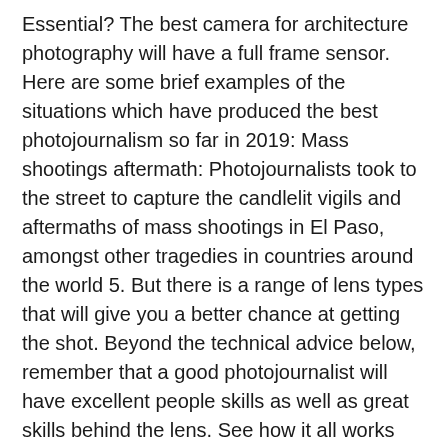Essential? The best camera for architecture photography will have a full frame sensor. Here are some brief examples of the situations which have produced the best photojournalism so far in 2019: Mass shootings aftermath: Photojournalists took to the street to capture the candlelit vigils and aftermaths of mass shootings in El Paso, amongst other tragedies in countries around the world 5. But there is a range of lens types that will give you a better chance at getting the shot. Beyond the technical advice below, remember that a good photojournalist will have excellent people skills as well as great skills behind the lens. See how it all works here.] World Press Photo just announced the winning photos for the 2019 edition of it's world's most prestigious photojournalism contest. Photojournalists require ruggedly-built professional camera bodies with interchangeable lenses in order to properly shoot in the highly variable environments they are expected to operate in. The key here is versatility and speed—as in large apertures. i'm looking into getting a camera to persue photojournalism. I'm a photojournalism student, and I want to get a camera that will last me throughout college. The Nikon D5 is the first in the